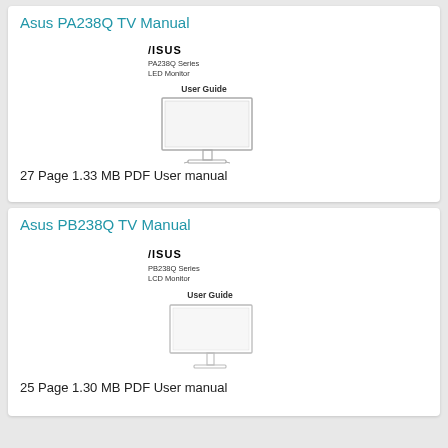Asus PA238Q TV Manual
[Figure (illustration): ASUS PA238Q Series LED Monitor User Guide manual cover showing monitor illustration with stand]
27 Page 1.33 MB PDF User manual
Asus PB238Q TV Manual
[Figure (illustration): ASUS PB238Q Series LCD Monitor User Guide manual cover showing monitor illustration with stand]
25 Page 1.30 MB PDF User manual